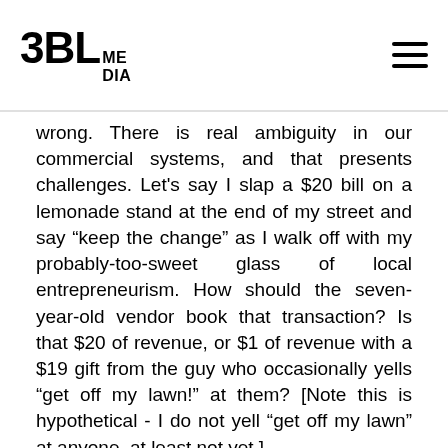3BL MEDIA
wrong. There is real ambiguity in our commercial systems, and that presents challenges. Let's say I slap a $20 bill on a lemonade stand at the end of my street and say “keep the change” as I walk off with my probably-too-sweet glass of local entrepreneurism. How should the seven-year-old vendor book that transaction? Is that $20 of revenue, or $1 of revenue with a $19 gift from the guy who occasionally yells “get off my lawn!” at them? [Note this is hypothetical - I do not yell “get off my lawn” at anyone, at least not yet.]
The laws of accounting aren’t objective like the laws of physics. They are conventions that are agreed upon by those who need a set of rules to make the system work. In this case, the rules are called the generally accepted accounting principles (GAAP), and the standards are set by FASB. If you need a Cliffs Notes version of my Enron Cliffs Notes from above, it would be to simply say that Enron didn’t play within FASB’s rules, and as a result, some